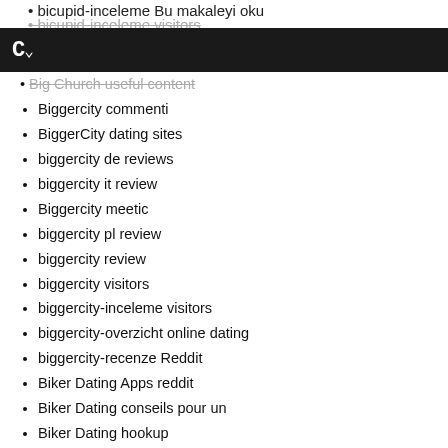bicupid-inceleme Bu makaleyi oku
bicupid-inceleme visitors
C~
Big Church useful content
Biggercity commenti
BiggerCity dating sites
biggercity de reviews
biggercity it review
Biggercity meetic
biggercity pl review
biggercity review
biggercity visitors
biggercity-inceleme visitors
biggercity-overzicht online dating
biggercity-recenze Reddit
Biker Dating Apps reddit
Biker Dating conseils pour un
Biker Dating hookup
Biker Dating Sites online
Biker Dating Sites site
Biker Dating Sites username
Biker Dating Sites visitors
Biker Planet review
Biker Planet visitors
biker-match dating
biker-match dating (partial)